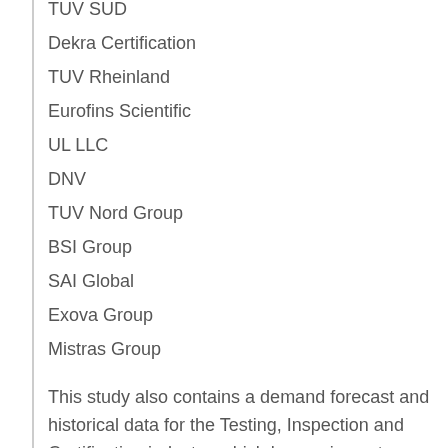TUV SUD
Dekra Certification
TUV Rheinland
Eurofins Scientific
UL LLC
DNV
TUV Nord Group
BSI Group
SAI Global
Exova Group
Mistras Group
This study also contains a demand forecast and historical data for the Testing, Inspection and Certification industry, which has an impact on business development. The study also covers a preliminary study of the industry's size and